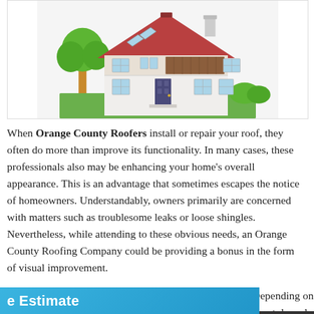[Figure (illustration): Flat-style illustration of a two-story house with a brown/red gabled roof, skylights, white exterior walls, multiple windows, a dark front door, a green tree on the left, and green bushes/shrubs at the base.]
When Orange County Roofers install or repair your roof, they often do more than improve its functionality. In many cases, these professionals also may be enhancing your home's overall appearance. This is an advantage that sometimes escapes the notice of homeowners. Understandably, owners primarily are concerned with matters such as troublesome leaks or loose shingles. Nevertheless, while attending to these obvious needs, an Orange County Roofing Company could be providing a bonus in the form of visual improvement.
Depending on the style and material composition of